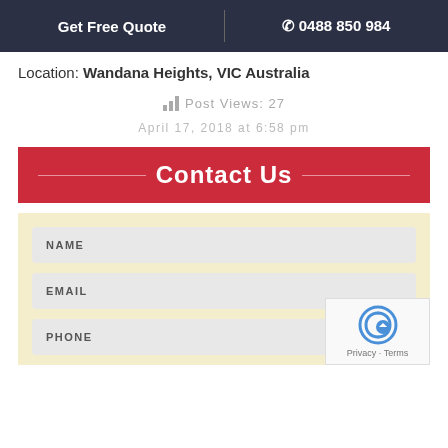Get Free Quote | 0488 850 984
Location: Wandana Heights, VIC Australia
Post Views: 27
April 17, 2018 at 6:58 pm
Contact Us
NAME
EMAIL
PHONE